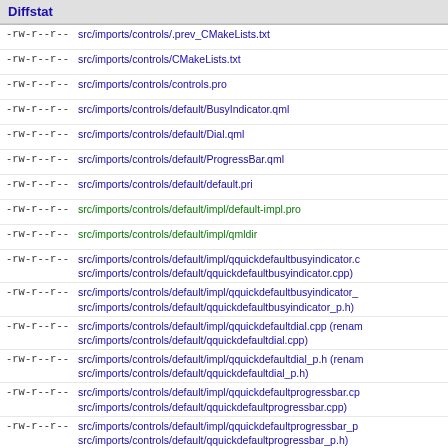Diffstat
-rw-r--r--  src/imports/controls/.prev_CMakeLists.txt
-rw-r--r--  src/imports/controls/CMakeLists.txt
-rw-r--r--  src/imports/controls/controls.pro
-rw-r--r--  src/imports/controls/default/BusyIndicator.qml
-rw-r--r--  src/imports/controls/default/Dial.qml
-rw-r--r--  src/imports/controls/default/ProgressBar.qml
-rw-r--r--  src/imports/controls/default/default.pri
-rw-r--r--  src/imports/controls/default/impl/default-impl.pro
-rw-r--r--  src/imports/controls/default/impl/qmldir
-rw-r--r--  src/imports/controls/default/impl/qquickdefaultbusyindicator.c src/imports/controls/default/qquickdefaultbusyindicator.cpp)
-rw-r--r--  src/imports/controls/default/impl/qquickdefaultbusyindicator_ src/imports/controls/default/qquickdefaultbusyindicator_p.h)
-rw-r--r--  src/imports/controls/default/impl/qquickdefaultdial.cpp (renam src/imports/controls/default/qquickdefaultdial.cpp)
-rw-r--r--  src/imports/controls/default/impl/qquickdefaultdial_p.h (renam src/imports/controls/default/qquickdefaultdial_p.h)
-rw-r--r--  src/imports/controls/default/impl/qquickdefaultprogressbar.cp src/imports/controls/default/qquickdefaultprogressbar.cpp)
-rw-r--r--  src/imports/controls/default/impl/qquickdefaultprogressbar_p src/imports/controls/default/qquickdefaultprogressbar_p.h)
-rw-r--r--  src/imports/controls/default/impl/qtquickcontrols2defaultstyle (renamed from src/quickcontrols2/qtquickcontrols2global_p.h
-rw-r--r--  src/imports/controls/default/qquickdefaultstyle_p.h